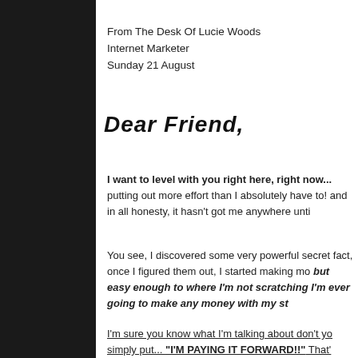From The Desk Of Lucie Woods
Internet Marketer
Sunday 21 August
Dear Friend,
I want to level with you right here, right now... putting out more effort than I absolutely have to! and in all honesty, it hasn't got me anywhere unti
You see, I discovered some very powerful secret fact, once I figured them out, I started making mo but easy enough to where I'm not scratching I'm ever going to make any money with my st
I'm sure you know what I'm talking about don't yo simply put... "I'M PAYING IT FORWARD!!" That's